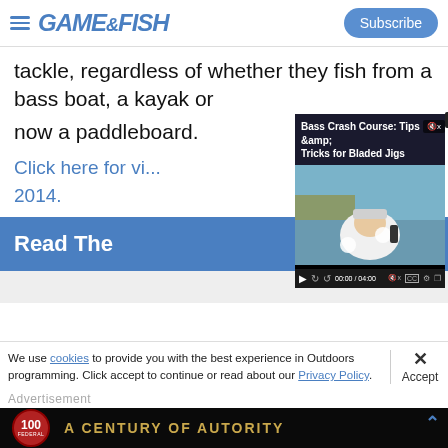GAME&FISH | Subscribe
tackle, regardless of whether they fish from a bass boat, a kayak or now a paddleboard.
Click here for vi... 2014.
[Figure (screenshot): Embedded video player showing 'Bass Crash Course: Tips & Tricks for Bladed Jigs', duration 00:00 / 04:00, with video controls.]
Read The...
We use cookies to provide you with the best experience in Outdoors programming. Click accept to continue or read about our Privacy Policy.
Advertisement
[Figure (advertisement): Federal ammunition '100 - A Century of Authority' advertisement banner with red badge and gold text on black background.]